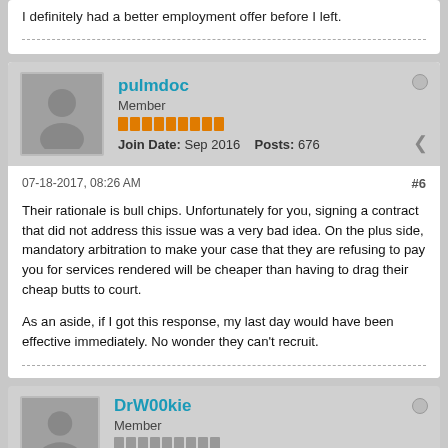I definitely had a better employment offer before I left.
pulmdoc
Member
Join Date: Sep 2016  Posts: 676
07-18-2017, 08:26 AM
#6
Their rationale is bull chips. Unfortunately for you, signing a contract that did not address this issue was a very bad idea. On the plus side, mandatory arbitration to make your case that they are refusing to pay you for services rendered will be cheaper than having to drag their cheap butts to court.

As an aside, if I got this response, my last day would have been effective immediately. No wonder they can't recruit.
DrW00kie
Member